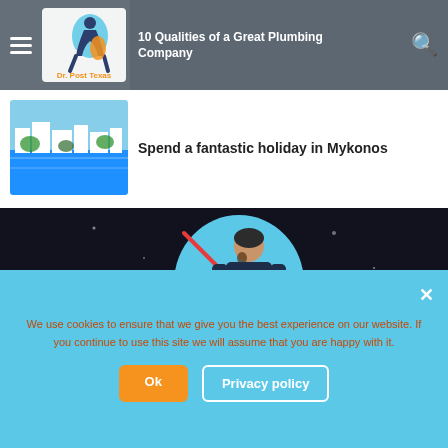[Figure (screenshot): Website navbar with hamburger menu, Dr. Post Texas logo, article title '10 Qualities of a Great Plumbing Company', and orange search icon]
10 Qualities of a Great Plumbing Company
[Figure (photo): Aerial coastal view of Mykonos with blue water and white buildings]
Spend a fantastic holiday in Mykonos
[Figure (illustration): Illustrated man standing in front of a blue oval shape on dark background]
We use cookies to ensure that we give you the best experience on our website. If you continue to use this site we will assume that you are happy with it.
Ok
Privacy policy